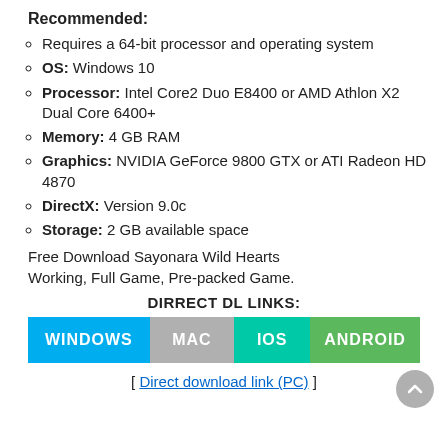Recommended:
Requires a 64-bit processor and operating system
OS: Windows 10
Processor: Intel Core2 Duo E8400 or AMD Athlon X2 Dual Core 6400+
Memory: 4 GB RAM
Graphics: NVIDIA GeForce 9800 GTX or ATI Radeon HD 4870
DirectX: Version 9.0c
Storage: 2 GB available space
Free Download Sayonara Wild Hearts
Working, Full Game, Pre-packed Game.
DIRRECT DL LINKS:
WINDOWS  MAC  IOS  ANDROID
[ Direct download link (PC) ]